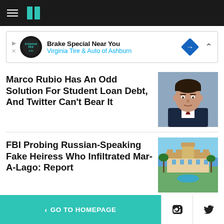HuffPost navigation bar with hamburger menu and logo
[Figure (other): Advertisement banner: Brake Special Near You — Virginia Tire & Auto of Ashburn]
Marco Rubio Has An Odd Solution For Student Loan Debt, And Twitter Can't Bear It
[Figure (photo): Headshot photo of Marco Rubio in a dark suit]
FBI Probing Russian-Speaking Fake Heiress Who Infiltrated Mar-A-Lago: Report
[Figure (photo): Aerial photo of Mar-A-Lago estate with ocean and palm trees]
< GO TO HOMEPAGE | Facebook | Twitter | X